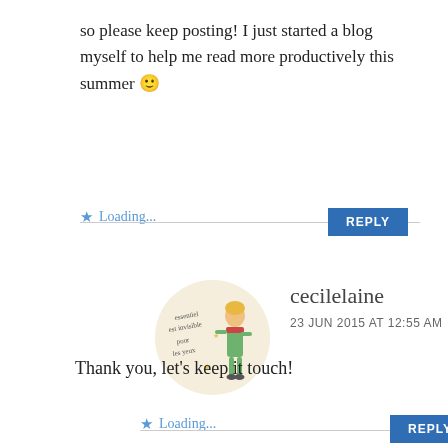so please keep posting! I just started a blog myself to help me read more productively this summer 🙂
Loading...
REPLY
[Figure (illustration): Circular avatar showing The Little Prince illustration with French text and a figure in green standing]
cecilelaine
23 JUN 2015 AT 12:55 AM
Thank you, let's keep it touch!
Loading...
REPLY